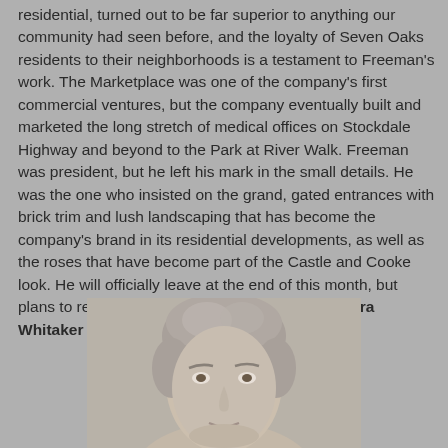residential, turned out to be far superior to anything our community had seen before, and the loyalty of Seven Oaks residents to their neighborhoods is a testament to Freeman's work. The Marketplace was one of the company's first commercial ventures, but the company eventually built and marketed the long stretch of medical offices on Stockdale Highway and beyond to the Park at River Walk. Freeman was president, but he left his mark in the small details. He was the one who insisted on the grand, gated entrances with brick trim and lush landscaping that has become the company's brand in its residential developments, as well as the roses that have become part of the Castle and Cooke look. He will officially leave at the end of this month, but plans to remain in Bakersfield. Vice president Laura Whitaker is expected to replace Freeman.
[Figure (photo): Black and white or muted-color headshot photo of a middle-aged man with gray hair, facing forward]